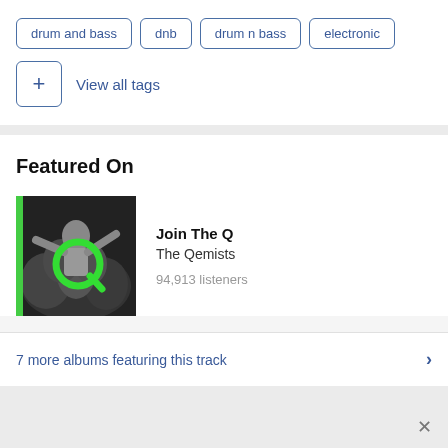drum and bass
dnb
drum n bass
electronic
View all tags
Featured On
[Figure (photo): Album art for 'Join The Q' by The Qemists — black and white concert crowd photo with green stylized Q logo]
Join The Q
The Qemists
94,913 listeners
7 more albums featuring this track